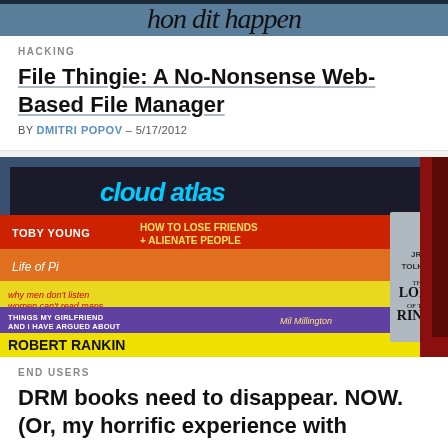[Figure (photo): Cropped top of an image showing cursive/handwritten text 'hon dit happen' on a light background with dark top border]
HACKING
File Thingie: A No-Nonsense Web-Based File Manager
BY DMITRI POPOV – 5/17/2012
[Figure (photo): Photo of a stack of books on a shelf including Cloud Atlas, Toby Young How to Lose Friends and Alienate People, Life of Pi, Why Men Don't Listen and Women Can't Read Maps, Things My Girlfriend and I Have Argued About by Mil Millington, Robert Rankin, JRR Tolkien The Lord of the Rings, Roald Dahl, American Dreams]
END USERS
DRM books need to disappear. NOW. (Or, my horrific experience with